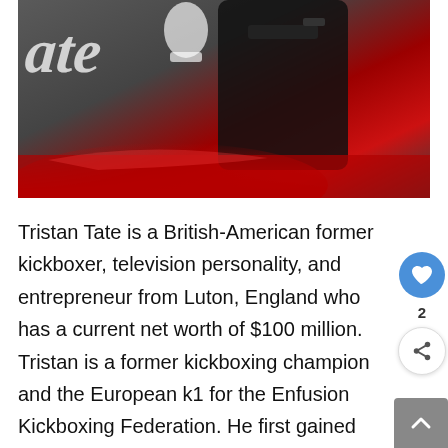[Figure (photo): Person dressed in black holding a firearm, standing in front of a red sports car, with white chess pieces and a logo reading 'Tate' visible in the background]
Tristan Tate is a British-American former kickboxer, television personality, and entrepreneur from Luton, England who has a current net worth of $100 million. Tristan is a former kickboxing champion and the European k1 for the Enfusion Kickboxing Federation. He first gained recognition after appearing in the fourth season of Channel 4's